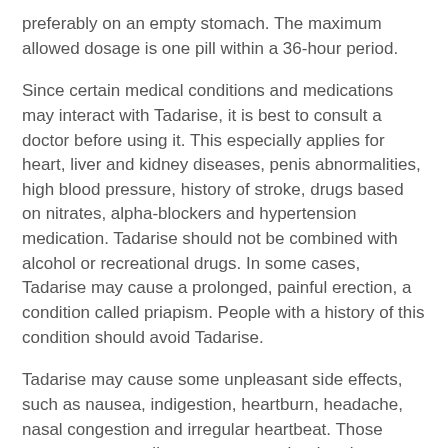preferably on an empty stomach. The maximum allowed dosage is one pill within a 36-hour period.
Since certain medical conditions and medications may interact with Tadarise, it is best to consult a doctor before using it. This especially applies for heart, liver and kidney diseases, penis abnormalities, high blood pressure, history of stroke, drugs based on nitrates, alpha-blockers and hypertension medication. Tadarise should not be combined with alcohol or recreational drugs. In some cases, Tadarise may cause a prolonged, painful erection, a condition called priapism. People with a history of this condition should avoid Tadarise.
Tadarise may cause some unpleasant side effects, such as nausea, indigestion, heartburn, headache, nasal congestion and irregular heartbeat. Those symptoms normally go away once the drug leaves the system. However, more serious side effects such as very high blood pressure, a drop in low pressure, palpitations, chest pain, hearing and vision problems and fainting, require immediate medical attention.